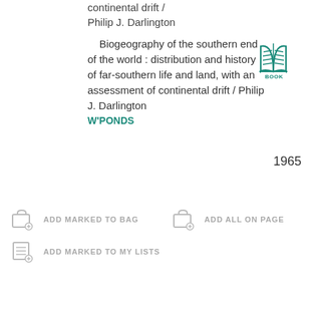continental drift / Philip J. Darlington
Biogeography of the southern end of the world : distribution and history of far-southern life and land, with an assessment of continental drift / Philip J. Darlington
W'PONDS
[Figure (illustration): Teal/green book icon with lines representing pages, labeled BOOK underneath]
1965
ADD MARKED TO BAG
ADD ALL ON PAGE
ADD MARKED TO MY LISTS